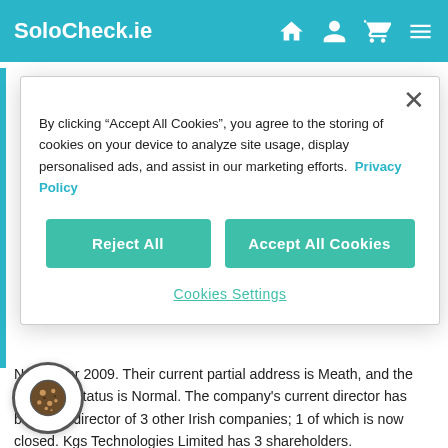SoloCheck.ie
By clicking “Accept All Cookies”, you agree to the storing of cookies on your device to analyze site usage, display personalised ads, and assist in our marketing efforts. Privacy Policy
Reject All
Accept All Cookies
Cookies Settings
November 2009. Their current partial address is Meath, and the company status is Normal. The company's current director has been the director of 3 other Irish companies; 1 of which is now closed. Kgs Technologies Limited has 3 shareholders.